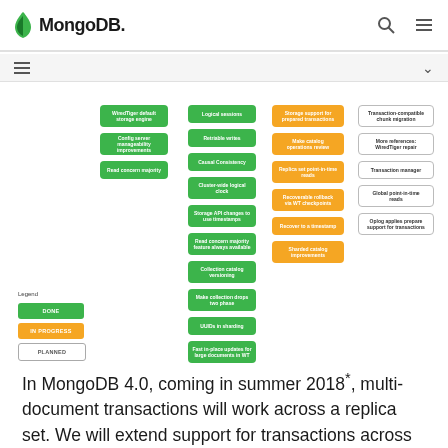MongoDB
[Figure (flowchart): MongoDB roadmap flowchart showing feature boxes in green (DONE), yellow (IN PROGRESS), white (PLANNED), and light blue (TRANSACTION EPIC). Items include WiredTiger default storage engine, Config server manageability improvements, Read concern majority, Logical sessions, Retriable writes, Causal Consistency, Cluster-wide logical clock, Storage API changes to use timestamps, Read concern majority feature always available, Collection catalog versioning, Make collection drops two-phase, UUIDs in sharding, Fast in-place updates for large documents in WT, Storage support for prepared transactions, Make catalog operations review, Replica set point-in-time reads, Recoverable rollback via WT checkpoints, Recover to a timestamp, Sharded catalog improvements, Transaction-compatible chunk migration, More references: WiredTiger repair, Transaction manager, Global point-in-time reads, Oplog applies prepare support for transactions.]
In MongoDB 4.0, coming in summer 2018*, multi-document transactions will work across a replica set. We will extend support for transactions across a sharded deployment in the following release.